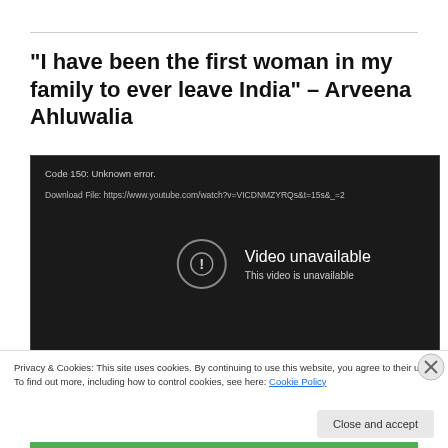“I have been the first woman in my family to ever leave India” – Arveena Ahluwalia
[Figure (screenshot): Embedded YouTube video player showing error: Code 150: Unknown error. Download File: https://www.youtube.com/watch?v=VICDNMZYRQs&t=15s&_=2. Center shows exclamation icon with text 'Video unavailable / This video is unavailable'.]
Privacy & Cookies: This site uses cookies. By continuing to use this website, you agree to their use.
To find out more, including how to control cookies, see here: Cookie Policy